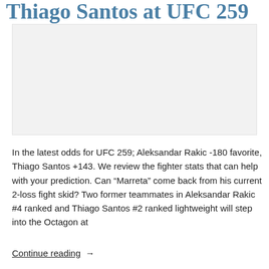Thiago Santos at UFC 259
[Figure (photo): Image placeholder for Thiago Santos at UFC 259 article]
In the latest odds for UFC 259; Aleksandar Rakic -180 favorite, Thiago Santos +143. We review the fighter stats that can help with your prediction. Can “Marreta” come back from his current 2-loss fight skid? Two former teammates in Aleksandar Rakic #4 ranked and Thiago Santos #2 ranked lightweight will step into the Octagon at
Continue reading →